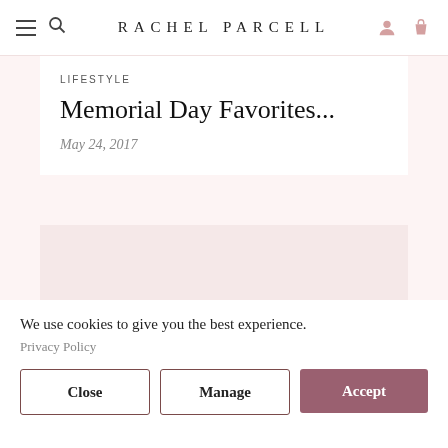RACHEL PARCELL
LIFESTYLE
Memorial Day Favorites...
May 24, 2017
[Figure (other): Blank image placeholder area with pinkish background]
We use cookies to give you the best experience.
Privacy Policy
Close
Manage
Accept